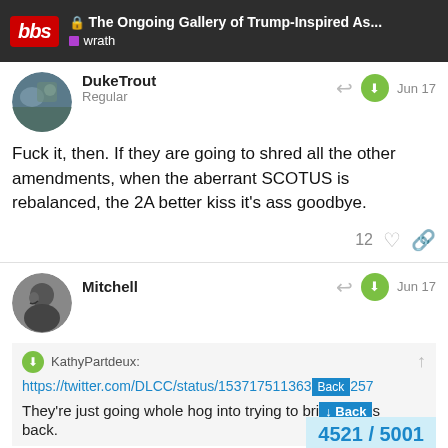The Ongoing Gallery of Trump-Inspired As... | wrath
DukeTrout
Regular
Jun 17
Fuck it, then. If they are going to shred all the other amendments, when the aberrant SCOTUS is rebalanced, the 2A better kiss it's ass goodbye.
12
Mitchell
Jun 17
KathyPartdeux:
https://twitter.com/DLCC/status/153717511363329257
They're just going whole hog into trying to bring the 1800's back.
Back
4521 / 5001